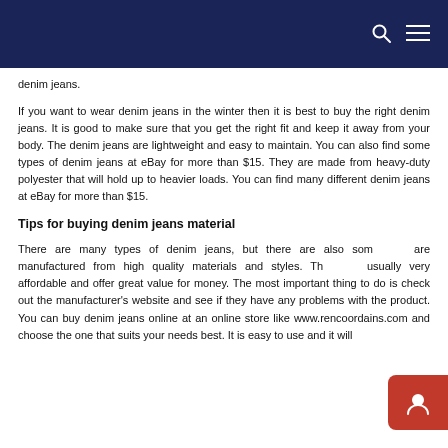denim jeans.
If you want to wear denim jeans in the winter then it is best to buy the right denim jeans. It is good to make sure that you get the right fit and keep it away from your body. The denim jeans are lightweight and easy to maintain. You can also find some types of denim jeans at eBay for more than $15. They are made from heavy-duty polyester that will hold up to heavier loads. You can find many different denim jeans at eBay for more than $15.
Tips for buying denim jeans material
There are many types of denim jeans, but there are also some that are manufactured from high quality materials and styles. They are usually very affordable and offer great value for money. The most important thing to do is check out the manufacturer's website and see if they have any problems with the product. You can buy denim jeans online at an online store like www.rencoordains.com and choose the one that suits your needs best. It is easy to use and it will